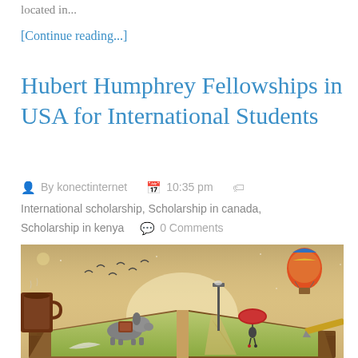located in...
[Continue reading...]
Hubert Humphrey Fellowships in USA for International Students
By konectinternet   10:35 pm   International scholarship, Scholarship in canada, Scholarship in kenya   0 Comments
[Figure (illustration): A fantasy illustration of an open book lying on a wooden table, with a grassy landscape emerging from its pages. A dog with a backpack stands on the left page, a girl with a red umbrella walks a brick path on the right page toward a lamppost. Birds fly overhead, a hot air balloon floats in the sky. A coffee mug is visible on the left, a pen on the right.]